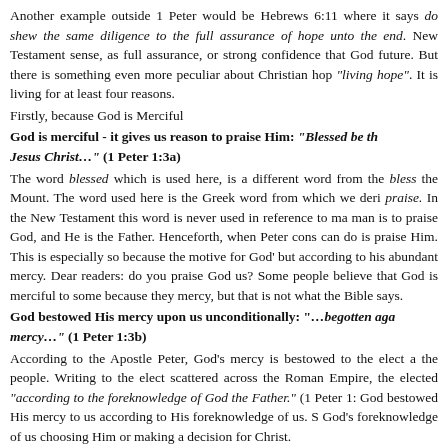Another example outside 1 Peter would be Hebrews 6:11 where it says do shew the same diligence to the full assurance of hope unto the end. New Testament sense, as full assurance, or strong confidence that God future. But there is something even more peculiar about Christian hop "living hope". It is living for at least four reasons.
Firstly, because God is Merciful
God is merciful - it gives us reason to praise Him: “Blessed be th Jesus Christ…” (1 Peter 1:3a)
The word blessed which is used here, is a different word from the bless the Mount. The word used here is the Greek word from which we deri praise. In the New Testament this word is never used in reference to ma man is to praise God, and He is the Father. Henceforth, when Peter cons can do is praise Him. This is especially so because the motive for God’ but according to his abundant mercy. Dear readers: do you praise God us? Some people believe that God is merciful to some because they mercy, but that is not what the Bible says.
God bestowed His mercy upon us unconditionally: “…begotten aga mercy…” (1 Peter 1:3b)
According to the Apostle Peter, God’s mercy is bestowed to the elect a the people. Writing to the elect scattered across the Roman Empire, the elected “according to the foreknowledge of God the Father.” (1 Peter 1: God bestowed His mercy to us according to His foreknowledge of us. S God’s foreknowledge of us choosing Him or making a decision for Christ.